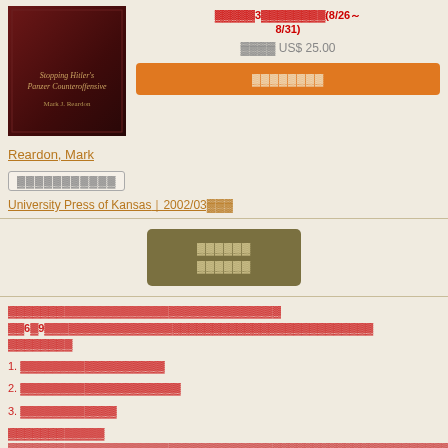[Figure (photo): Book cover of 'Stopping Hitler's Panzer Counteroffensive' by Mark J. Reardon, dark red/maroon background]
▓▓▓▓▓3▓▓▓▓▓▓▓▓(8/26～8/31)
▓▓▓▓ US$ 25.00
▓▓▓▓▓▓▓▓ (orange button)
Reardon, Mark
▓▓▓▓▓▓▓▓▓▓▓
University Press of Kansas▓2002/03▓▓▓
▓▓▓▓▓▓ ▓▓▓▓▓▓ (olive button)
▓▓▓▓▓▓▓▓▓▓▓▓▓▓▓▓▓▓▓▓▓▓▓▓▓▓▓▓▓▓▓▓▓▓
▓▓6▓9▓▓▓▓▓▓▓▓▓▓▓▓▓▓▓▓▓▓▓▓▓▓▓▓▓▓▓▓▓▓▓▓▓▓▓▓▓▓▓▓
▓▓▓▓▓▓▓▓
1.  ▓▓▓▓▓▓▓▓▓▓▓▓▓▓▓▓▓▓
2.  ▓▓▓▓▓▓▓▓▓▓▓▓▓▓▓▓▓▓▓▓
3.  ▓▓▓▓▓▓▓▓▓▓▓▓
▓▓▓▓▓▓▓▓▓▓▓▓
▓▓▓▓▓▓▓▓▓▓▓▓▓▓▓▓▓▓▓▓▓▓▓▓▓▓▓▓▓▓▓▓▓▓▓▓▓▓▓▓▓▓▓▓▓▓▓▓▓▓▓▓▓▓▓▓▓▓▓▓▓▓▓▓▓▓▓▓▓▓▓▓▓▓▓▓▓▓▓▓▓▓▓▓▓▓▓▓▓▓▓▓▓▓▓▓▓▓▓▓▓▓▓▓▓▓▓▓▓▓▓▓▓▓▓▓▓▓▓▓▓▓▓▓▓▓▓▓▓▓▓▓▓▓▓▓▓▓▓▓▓▓▓▓▓▓▓▓▓▓▓▓▓▓▓▓▓▓▓▓▓▓